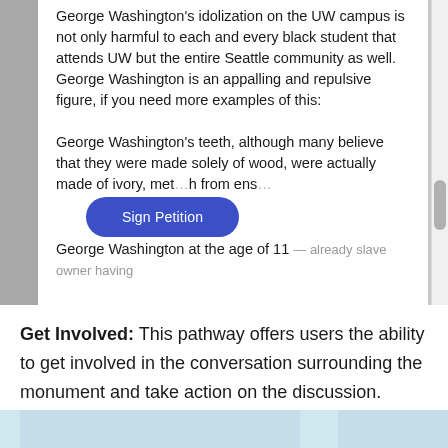[Figure (screenshot): Screenshot of a petition page about George Washington's idolization on the UW campus, with a blue 'Sign Petition' button overlay.]
Get Involved: This pathway offers users the ability to get involved in the conversation surrounding the monument and take action on the discussion. Users can sign petitions, view events and donate money to fundraisers and local organization.
[Figure (screenshot): Partial screenshot visible at the bottom of the page, showing a light blue interface element.]